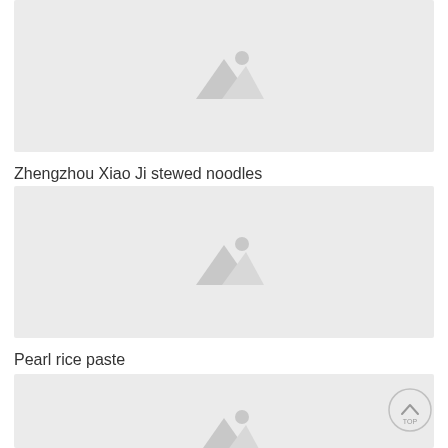[Figure (photo): Placeholder image with mountain and sun icon, light gray background]
Zhengzhou Xiao Ji stewed noodles
[Figure (photo): Placeholder image with mountain and sun icon, light gray background]
Pearl rice paste
[Figure (photo): Placeholder image with mountain and sun icon, light gray background (partially visible)]